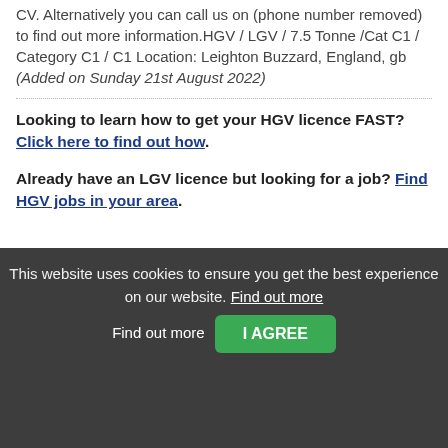CV. Alternatively you can call us on (phone number removed) to find out more information.HGV / LGV / 7.5 Tonne /Cat C1 / Category C1 / C1 Location: Leighton Buzzard, England, gb (Added on Sunday 21st August 2022)
Looking to learn how to get your HGV licence FAST? Click here to find out how.
Already have an LGV licence but looking for a job? Find HGV jobs in your area.
This website uses cookies to ensure you get the best experience on our website. Find out more
I AGREE
HOME
JOB SEARCH